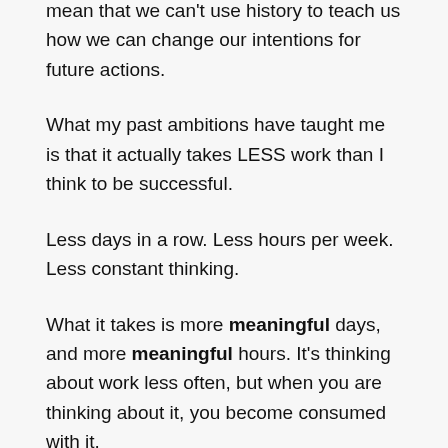mean that we can't use history to teach us how we can change our intentions for future actions.
What my past ambitions have taught me is that it actually takes LESS work than I think to be successful.
Less days in a row. Less hours per week. Less constant thinking.
What it takes is more meaningful days, and more meaningful hours. It's thinking about work less often, but when you are thinking about it, you become consumed with it.